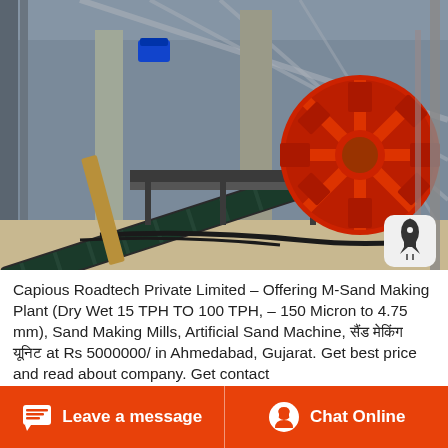[Figure (photo): Industrial sand making plant interior showing conveyor belts, structural columns, and a large red wheel/drum machine (sand washing unit) inside a warehouse-type facility.]
Capious Roadtech Private Limited - Offering M-Sand Making Plant (Dry Wet 15 TPH TO 100 TPH, - 150 Micron to 4.75 mm), Sand Making Mills, Artificial Sand Machine, सैंड मेकिंग यूनिट at Rs 5000000/ in Ahmedabad, Gujarat. Get best price and read about company. Get contact
Leave a message  |  Chat Online